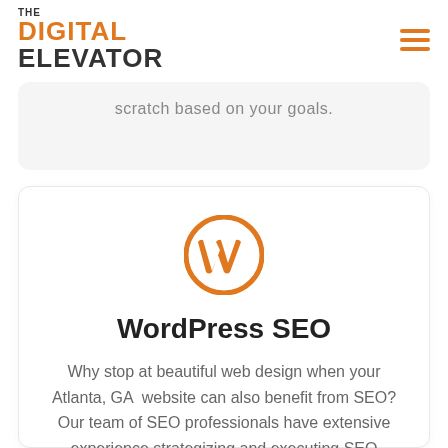THE DIGITAL ELEVATOR
scratch based on your goals.
[Figure (logo): WordPress orange W logo icon]
WordPress SEO
Why stop at beautiful web design when your Atlanta, GA  website can also benefit from SEO? Our team of SEO professionals have extensive experience strategizing and executing SEO specifically for WordPress websites.